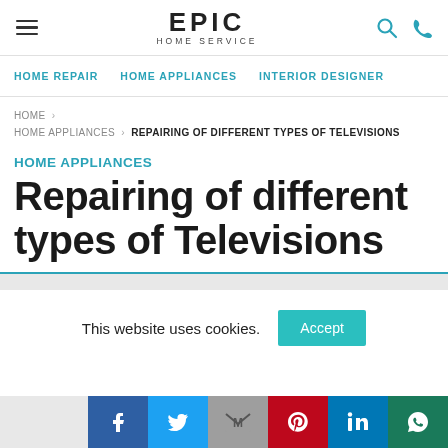EPIC HOME SERVICE — navigation header with menu, logo, search and phone icons
HOME REPAIR   HOME APPLIANCES   INTERIOR DESIGNER
HOME › HOME APPLIANCES › REPAIRING OF DIFFERENT TYPES OF TELEVISIONS
HOME APPLIANCES
Repairing of different types of Televisions
This website uses cookies.  Accept
[Figure (other): Social sharing bar with Facebook, Twitter, Gmail/Google, Pinterest, LinkedIn, WhatsApp icons]